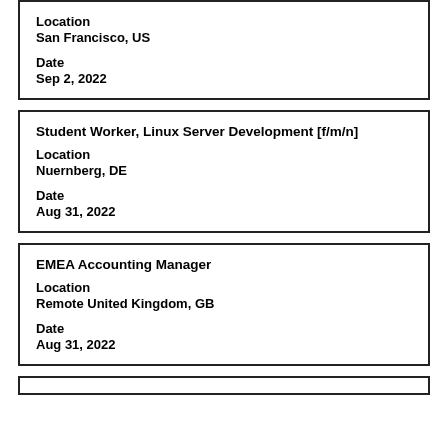Location
San Francisco, US

Date
Sep 2, 2022
Student Worker, Linux Server Development [f/m/n]

Location
Nuernberg, DE

Date
Aug 31, 2022
EMEA Accounting Manager

Location
Remote United Kingdom, GB

Date
Aug 31, 2022